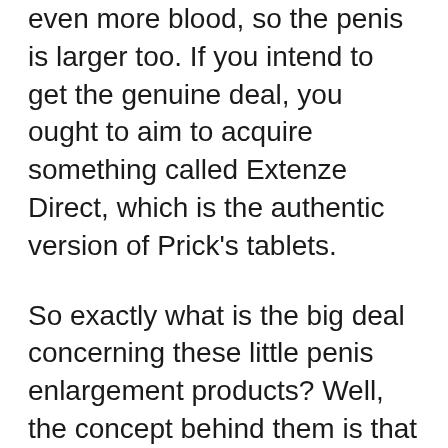even more blood, so the penis is larger too. If you intend to get the genuine deal, you ought to aim to acquire something called Extenze Direct, which is the authentic version of Prick's tablets.
So exactly what is the big deal concerning these little penis enlargement products? Well, the concept behind them is that there are certain amino acids, which when incorporated with the ideal diet regimen (you understand, every one of those vitamins and minerals that boost your general well being) works to naturally enhance the size, health and wellness as well as sex-related performance. It is believed that a penis made larger by Extenze, will have higher nerve endings and also have the ability to